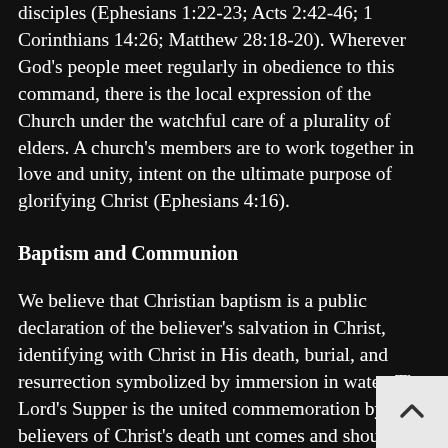disciples (Ephesians 1:22-23; Acts 2:42-46; 1 Corinthians 14:26; Matthew 28:18-20). Wherever God's people meet regularly in obedience to this command, there is the local expression of the Church under the watchful care of a plurality of elders. A church's members are to work together in love and unity, intent on the ultimate purpose of glorifying Christ (Ephesians 4:16).
Baptism and Communion
We believe that Christian baptism is a public declaration of the believer's salvation in Christ, identifying with Christ in His death, burial, and resurrection symbolized by immersion in water. The Lord's Supper is the united commemoration by believers of Christ's death unt comes and should be preceded by a careful self-